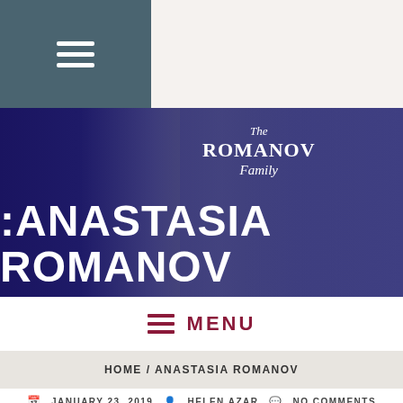[Figure (screenshot): Website top navigation bar with hamburger menu icon on dark teal background and light beige area to the right]
[Figure (photo): Banner image showing Romanov family members in black and white photos on dark blue background with 'The ROMANOV Family' book title text overlay and large white text reading 'ANASTASIA ROMANOV']
MENU
HOME / ANASTASIA ROMANOV
JANUARY 23, 2019   HELEN AZAR   NO COMMENTS
THE ROMANOV FAMILY: "GIANT STEPS" CAME